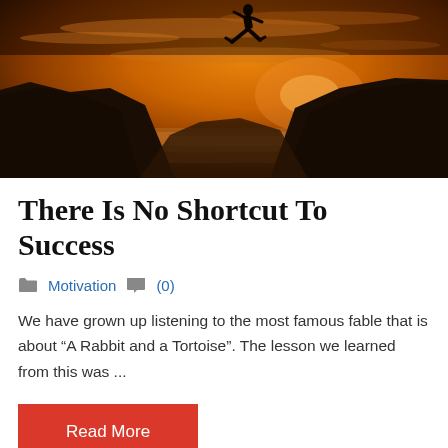[Figure (photo): Silhouette of a person leaping between two rocky cliffs against a dramatic orange sunset sky with clouds and a body of water visible below.]
There Is No Shortcut To Success
Motivation  (0)
We have grown up listening to the most famous fable that is about “A Rabbit and a Tortoise”. The lesson we learned from this was ...
Read More